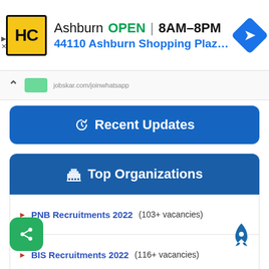[Figure (screenshot): Advertisement banner for HC store in Ashburn, showing logo, open hours 8AM-8PM, address 44110 Ashburn Shopping Plaz..., and a blue navigation arrow icon]
[Figure (screenshot): Partial browser navigation bar with up chevron, green shape, and partial URL jobskar.com/joinwhatsapp]
Recent Updates
Top Organizations
PNB Recruitments 2022  (103+ vacancies)
BIS Recruitments 2022  (116+ vacancies)
HAL Recruitments 2022  (120+ vacancies)
SSC Recruitments 2022  (61+ vacancies)